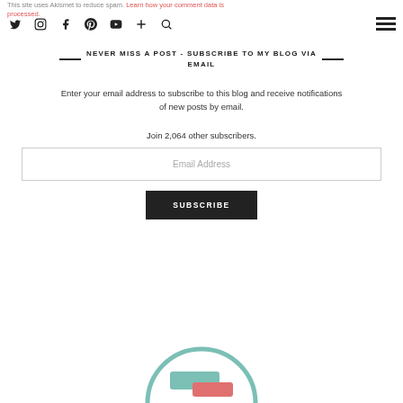This site uses Akismet to reduce spam. Learn how your comment data is processed.
[Figure (screenshot): Social media icons: Twitter, Instagram, Facebook, Pinterest, YouTube, plus, search, and hamburger menu]
NEVER MISS A POST - SUBSCRIBE TO MY BLOG VIA EMAIL
Enter your email address to subscribe to this blog and receive notifications of new posts by email.
Join 2,064 other subscribers.
[Figure (other): Email Address input field placeholder]
[Figure (other): SUBSCRIBE button]
[Figure (illustration): Partial circular illustration with teal and red/coral shapes at bottom of page]